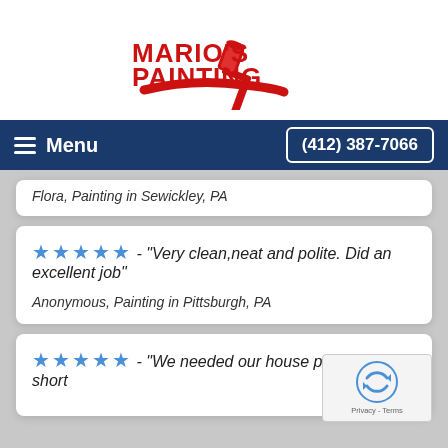[Figure (logo): Mario's Painting logo with red text and a paint roller image]
Menu   (412) 387-7066
Flora, Painting in Sewickley, PA
★★★★★ - "Very clean,neat and polite. Did an excellent job"
Anonymous, Painting in Pittsburgh, PA
★★★★★ - "We needed our house painted on short
[Figure (other): Google reCAPTCHA widget with Privacy and Terms text]